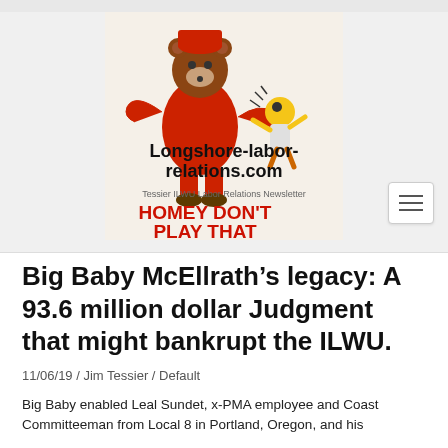[Figure (illustration): Website banner for Longshore-labor-relations.com featuring cartoon characters (a bear in red kicking a smaller character) with text 'Longshore-labor-relations.com', 'Tessier ILWU Labor Relations Newsletter', and 'HOMEY DON'T PLAY THAT' in red lettering.]
Big Baby McEllrath’s legacy: A 93.6 million dollar Judgment that might bankrupt the ILWU.
11/06/19 / Jim Tessier / Default
Big Baby enabled Leal Sundet, x-PMA employee and Coast Committeeman from Local 8 in Portland, Oregon, and his